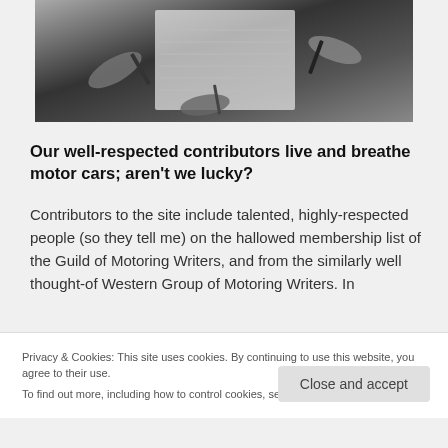[Figure (photo): Black and white photo showing multiple hands holding pens over lined paper, writing]
Our well-respected contributors live and breathe motor cars; aren't we lucky?
Contributors to the site include talented, highly-respected people (so they tell me) on the hallowed membership list of the Guild of Motoring Writers, and from the similarly well thought-of Western Group of Motoring Writers. In
Privacy & Cookies: This site uses cookies. By continuing to use this website, you agree to their use.
To find out more, including how to control cookies, see here: Cookie Policy
Close and accept